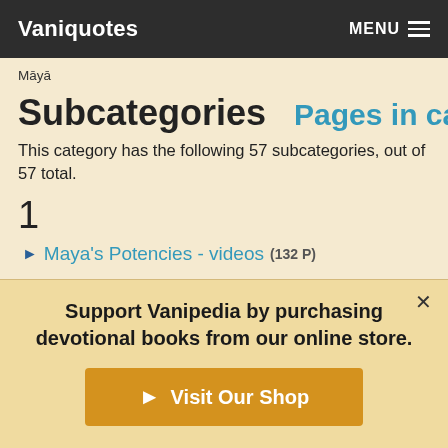Vaniquotes — MENU
Māyā
Subcategories
Pages in category
This category has the following 57 subcategories, out of 57 total.
1
Maya's Potencies - videos (132 P)
A
Activities of Maya (27 P)
Support Vanipedia by purchasing devotional books from our online store.
Visit Our Shop